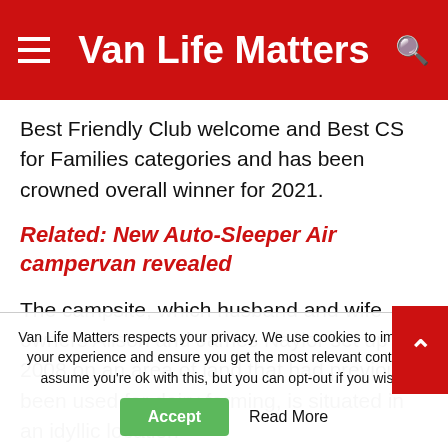Van Life Matters
Best Friendly Club welcome and Best CS for Families categories and has been crowned overall winner for 2021.
Related: New Auto-Sleeper Air campervan revealed
The campsite, which husband and wife owners Alison and James Naylor set up in 2008 on an area of land that had previously been used for dairy farming, is situated in an idyllic location
Van Life Matters respects your privacy. We use cookies to improve your experience and ensure you get the most relevant content. We assume you're ok with this, but you can opt-out if you wish.
Accept
Read More